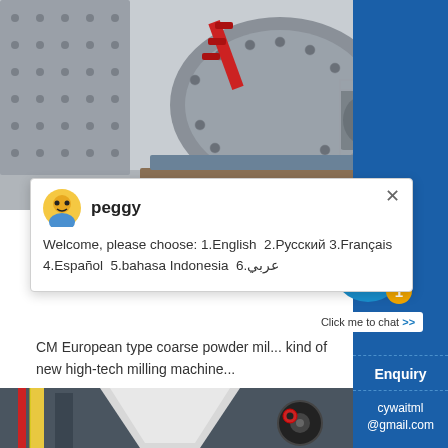[Figure (photo): Industrial ball mill / grinding machine in grey metal, shown in a warehouse setting. Heavy machinery with cylindrical drum, red pipe, motor, and access platform.]
[Figure (screenshot): Live chat popup with avatar of customer service agent named 'peggy'. Message reads: Welcome, please choose: 1.English 2.Русский 3.Français 4.Español 5.bahasa Indonesia 6.عربي. Close (X) button in top-right.]
CM European type coarse powder mil... kind of new high-tech milling machine...
[Figure (photo): Bottom portion of a second milling machine in an industrial warehouse, showing white conical hopper and black wheel component.]
[Figure (screenshot): Live chat widget on blue sidebar with smiley face wearing headphones, badge showing '1', and 'Click me to chat >>' button. Below: 'Enquiry' section with email 'cywaitml@gmail.com'.]